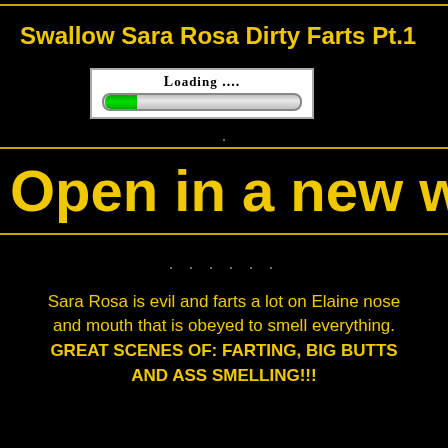Swallow Sara Rosa Dirty Farts Pt.1
[Figure (other): Loading bar UI element with 'LOADING ....' text above a progress bar showing partial green fill on grey bar]
.
Open in a new w
. . . . . .
Sara Rosa is evil and farts a lot on Elaine nose and mouth that is obeyed to smell everything. GREAT SCENES OF: FARTING, BIG BUTTS AND ASS SMELLING!!!